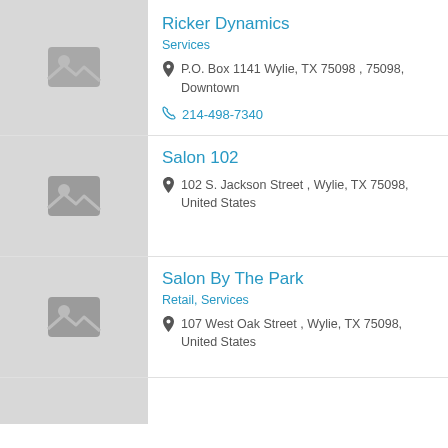Ricker Dynamics
Services
P.O. Box 1141 Wylie, TX 75098 , 75098, Downtown
214-498-7340
Salon 102
102 S. Jackson Street , Wylie, TX 75098, United States
Salon By The Park
Retail, Services
107 West Oak Street , Wylie, TX 75098, United States